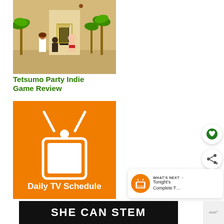[Figure (screenshot): Game screenshot showing cartoon characters near a building with palm trees — Tetsumo Party indie game]
Tetsumo Party Indie Game Review
[Figure (illustration): Orange background graphic with a white retro television icon and the text 'Daily TV Schedule']
[Figure (other): Circular heart (favorite) button]
[Figure (other): Circular share button]
[Figure (other): What's Next panel with TV icon, label 'WHAT'S NEXT →' and text 'Tonight's Complete T…']
[Figure (screenshot): SHE CAN STEM dark banner with bold white text, and a logo on the right side]